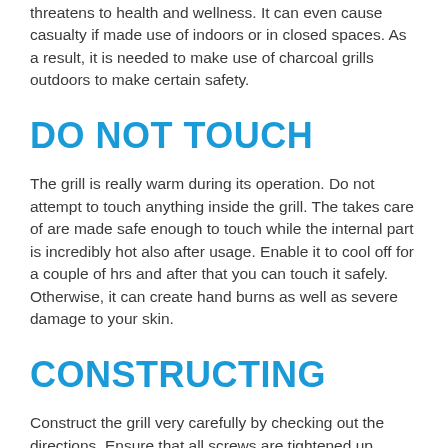threatens to health and wellness. It can even cause casualty if made use of indoors or in closed spaces. As a result, it is needed to make use of charcoal grills outdoors to make certain safety.
DO NOT TOUCH
The grill is really warm during its operation. Do not attempt to touch anything inside the grill. The takes care of are made safe enough to touch while the internal part is incredibly hot also after usage. Enable it to cool off for a couple of hrs and after that you can touch it safely. Otherwise, it can create hand burns as well as severe damage to your skin.
CONSTRUCTING
Construct the grill very carefully by checking out the directions. Ensure that all screws are tightened up.